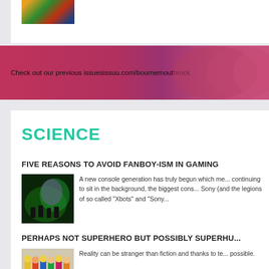[Figure (photo): Partial image visible at top of page, colorful scene]
Check out our previous issuesissuu.com/bournemouthrock
SCIENCE
FIVE REASONS TO AVOID FANBOY-ISM IN GAMING
[Figure (photo): Gaming event photo with green lighting and people in dark room]
A new console generation has truly begun which me... continuing to sit in the background, the biggest cons... Sony (and the legions of so called "Xbots" and "Sony...
PERHAPS NOT SUPERHERO BUT POSSIBLY SUPERHU...
[Figure (photo): Collection of colorful LEGO minifigures]
Reality can be stranger than fiction and thanks to te... possible.